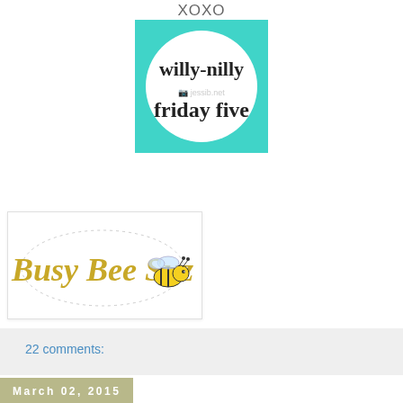XOXO
[Figure (logo): Willy-nilly friday five badge: teal square with white circle containing cursive text 'willy-nilly friday five']
[Figure (logo): Busy Bee Suz blog signature logo with gold script text and bee illustration]
22 comments:
March 02, 2015